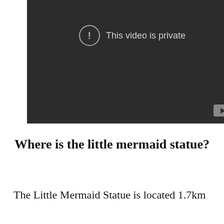[Figure (screenshot): A dark video player showing 'This video is private' message with an exclamation mark icon and a YouTube logo in the bottom right corner.]
Where is the little mermaid statue?
The Little Mermaid Statue is located 1.7km (1 x ___) at 37 ___________